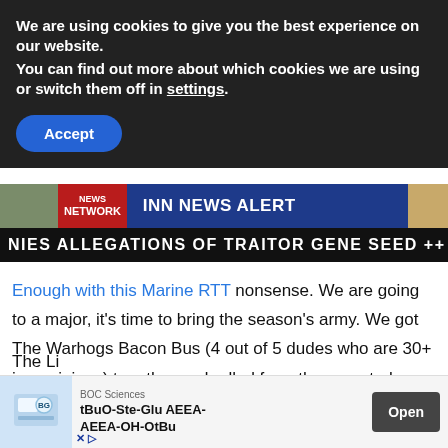We are using cookies to give you the best experience on our website.
You can find out more about which cookies we are using or switch them off in settings.
Accept
[Figure (screenshot): INN NEWS NETWORK news alert banner with red 'NEWS NETWORK' label and dark blue 'INN NEWS ALERT' text bar, flanked by image tiles]
NIES ALLEGATIONS OF TRAITOR GENE SEED ++ CAWL IS
Enough with this Marine RTT nonsense. We are going to a major, it's time to bring the season's army. We got The Warhogs Bacon Bus (4 out of 5 dudes who are 30+ in a minivan) together and rolled from the soon-to-be-frozen hinterlands that is North Dakota to the humid and hot hinterlands of Oklahoma. 13 hours later we arrived at The Iron Halo GT ready to slam some ham.
[Figure (screenshot): Advertisement banner: BOC Sciences tBuO-Ste-Glu AEEA-AEEA-OH-OtBu with Open button]
The Li